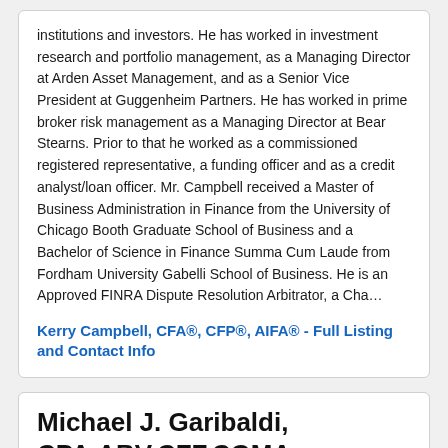institutions and investors. He has worked in investment research and portfolio management, as a Managing Director at Arden Asset Management, and as a Senior Vice President at Guggenheim Partners. He has worked in prime broker risk management as a Managing Director at Bear Stearns. Prior to that he worked as a commissioned registered representative, a funding officer and as a credit analyst/loan officer. Mr. Campbell received a Master of Business Administration in Finance from the University of Chicago Booth Graduate School of Business and a Bachelor of Science in Finance Summa Cum Laude from Fordham University Gabelli School of Business. He is an Approved FINRA Dispute Resolution Arbitrator, a Cha...
Kerry Campbell, CFA®, CFP®, AIFA® - Full Listing and Contact Info
Michael J. Garibaldi, CPA,ABV,CFF,CGMA
Garibaldi Group
Garden City, New York